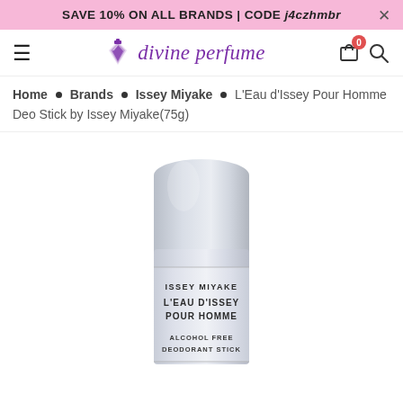SAVE 10% ON ALL BRANDS | CODE j4czhmbr ×
[Figure (logo): Divine Perfume logo with perfume bottle icon and purple text]
Home • Brands • Issey Miyake • L'Eau d'Issey Pour Homme Deo Stick by Issey Miyake(75g)
[Figure (photo): Issey Miyake L'Eau d'Issey Pour Homme deodorant stick product photo, silver/grey cylindrical container with text: ISSEY MIYAKE L'EAU D'ISSEY POUR HOMME ALCOHOL FREE DEODORANT STICK]